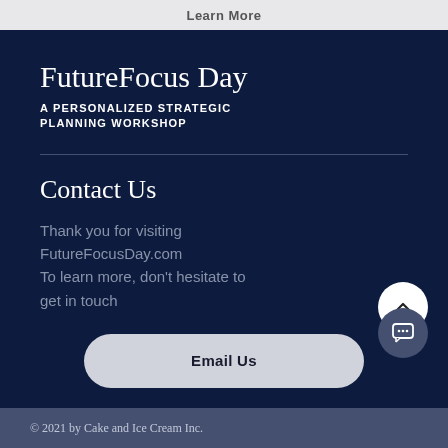Learn More
FutureFocus Day
A PERSONALIZED STRATEGIC PLANNING WORKSHOP
Contact Us
Thank you for visiting FutureFocusDay.com
To learn more, don't hesitate to get in touch
Email Us
© 2021 by Cake and Ice Cream Inc.